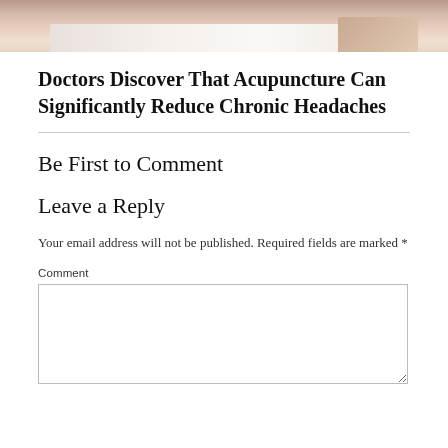[Figure (photo): Partial view of a person receiving a massage or acupuncture treatment, with white towels/sheets visible]
Doctors Discover That Acupuncture Can Significantly Reduce Chronic Headaches
Be First to Comment
Leave a Reply
Your email address will not be published. Required fields are marked *
Comment